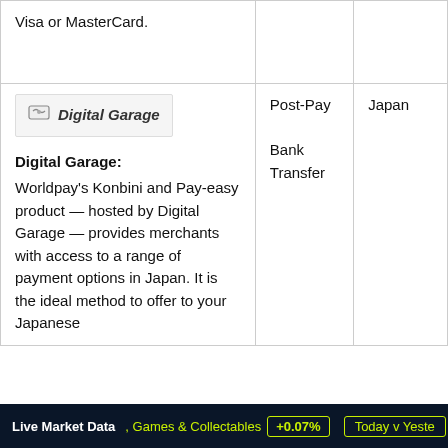| Provider / Description | Payment Type | Region |
| --- | --- | --- |
| Visa or MasterCard. |  |  |
| Digital Garage logo

Digital Garage: Worldpay's Konbini and Pay-easy product — hosted by Digital Garage — provides merchants with access to a range of payment options in Japan. It is the ideal method to offer to your Japanese | Post-Pay Bank Transfer | Japan |
Live Market Data  , Games & Collectables +0.07%  Today v Yeste